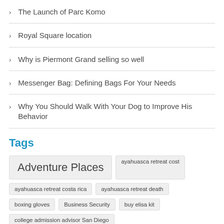The Launch of Parc Komo
Royal Square location
Why is Piermont Grand selling so well
Messenger Bag: Defining Bags For Your Needs
Why You Should Walk With Your Dog to Improve His Behavior
Tags
Adventure Places  ayahuasca retreat cost  ayahuasca retreat costa rica  ayahuasca retreat death  boxing gloves  Business Security  buy elisa kit  college admission advisor San Diego